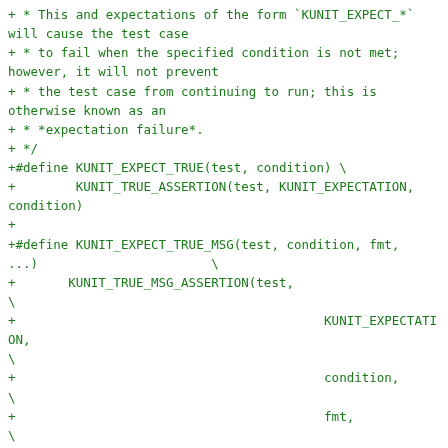+ * This and expectations of the form `KUNIT_EXPECT_*`
will cause the test case
+ * to fail when the specified condition is not met;
however, it will not prevent
+ * the test case from continuing to run; this is
otherwise known as an
+ * *expectation failure*.
+ */
+#define KUNIT_EXPECT_TRUE(test, condition) \
+        KUNIT_TRUE_ASSERTION(test, KUNIT_EXPECTATION,
condition)
+
+#define KUNIT_EXPECT_TRUE_MSG(test, condition, fmt,
...)                       \
+       KUNIT_TRUE_MSG_ASSERTION(test,
\
+                                         KUNIT_EXPECTATION,
\
+                                         condition,
\
+                                         fmt,
\
+                                         ##__VA_ARGS__)
+
+/**
+ * KUNIT_EXPECT_FALSE() - Makes a test failure when
the expression is not false.
+ * @test: The test context object.
+ * @condition: an arbitrary boolean expression. The
test fails when this does